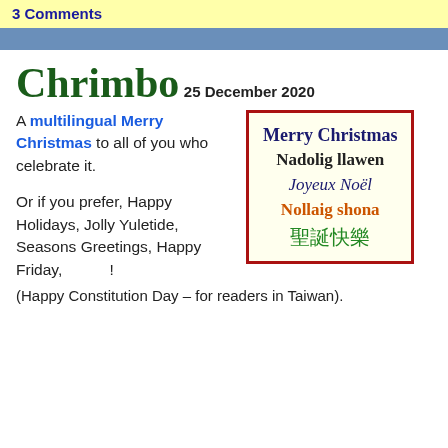3 Comments
Chrimbo
25 December 2020
A multilingual Merry Christmas to all of you who celebrate it.
[Figure (illustration): A greeting card with red border and cream background showing 'Merry Christmas' in multiple languages: English (dark blue), Welsh 'Nadolig llawen' (dark), French 'Joyeux Noël' (dark blue italic), Irish 'Nollaig shona' (orange), Chinese '聖誕快樂' (green)]
Or if you prefer, Happy Holidays, Jolly Yuletide, Seasons Greetings, Happy Friday, !
(Happy Constitution Day – for readers in Taiwan).